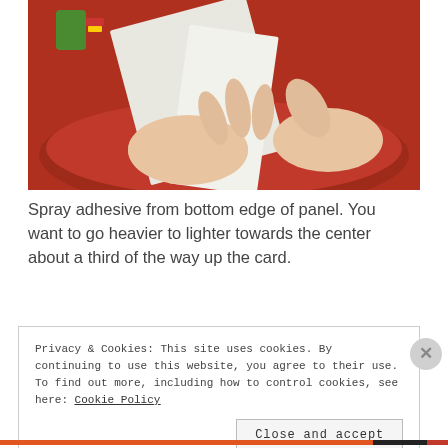[Figure (photo): Hands holding a white panel/card over a red bowl, demonstrating spray adhesive application from the bottom edge.]
Spray adhesive from bottom edge of panel. You want to go heavier to lighter towards the center about a third of the way up the card.
Privacy & Cookies: This site uses cookies. By continuing to use this website, you agree to their use. To find out more, including how to control cookies, see here: Cookie Policy
Close and accept